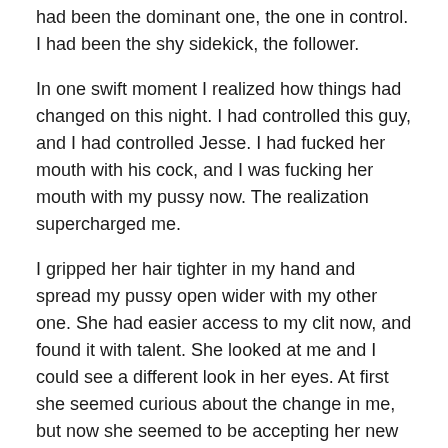had been the dominant one, the one in control. I had been the shy sidekick, the follower.
In one swift moment I realized how things had changed on this night. I had controlled this guy, and I had controlled Jesse. I had fucked her mouth with his cock, and I was fucking her mouth with my pussy now. The realization supercharged me.
I gripped her hair tighter in my hand and spread my pussy open wider with my other one. She had easier access to my clit now, and found it with talent. She looked at me and I could see a different look in her eyes. At first she seemed curious about the change in me, but now she seemed to be accepting her new role.
I wanted to exploit this new-found power. “You liked him